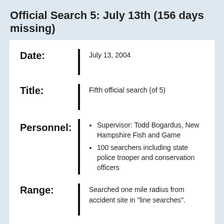Official Search 5: July 13th (156 days missing)
| Field | Value |
| --- | --- |
| Date: | July 13, 2004 |
| Title: | Fifth official search (of 5) |
| Personnel: | Supervisor: Todd Bogardus, New Hampshire Fish and Game; 100 searchers including state police trooper and conservation officers |
| Range: | Searched one mile radius from accident site in "line searches". |
| Findings: | Nothing noted as seen or found |